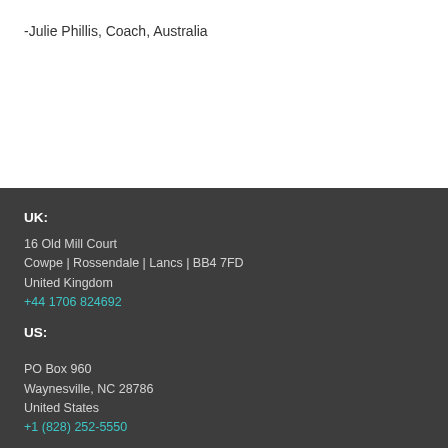-Julie Phillis, Coach, Australia
UK:
16 Old Mill Court
Cowpe | Rossendale | Lancs | BB4 7FD
United Kingdom
+44 1706 824692
US:
PO Box 960
Waynesville, NC 28786
United States
+1 (828) 252-5550
CONVERSION COURSE